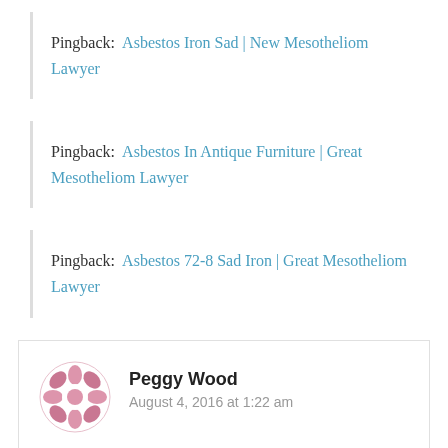Pingback: Asbestos Iron Sad | New Mesotheliom Lawyer
Pingback: Asbestos In Antique Furniture | Great Mesotheliom Lawyer
Pingback: Asbestos 72-8 Sad Iron | Great Mesotheliom Lawyer
Peggy Wood
August 4, 2016 at 1:22 am
Hello I have 2 x Sad (Solid) Irons. I have gathered heaps of information about the 1st one (An